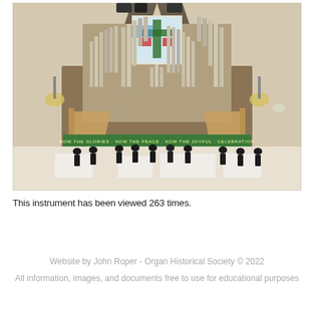[Figure (photo): Interior photograph of a church showing a large pipe organ with silver pipes arranged symmetrically behind a wooden gallery. A stained glass window with a cross motif is visible above the organ pipes. The church interior has a distinctive A-frame or triangular architectural style with dark wooden beams. A green banner with text runs across the organ gallery. Below, musicians in black attire are gathered around white-draped tables, appearing to be performing with brass instruments.]
This instrument has been viewed 263 times.
Website by John Roper - Organ Historical Society © 2022
All information, images, and documents free to use for educational purposes